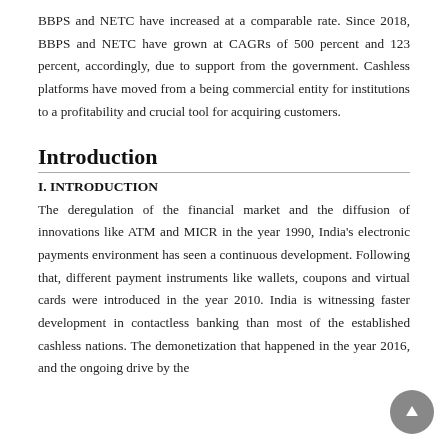BBPS and NETC have increased at a comparable rate. Since 2018, BBPS and NETC have grown at CAGRs of 500 percent and 123 percent, accordingly, due to support from the government. Cashless platforms have moved from a being commercial entity for institutions to a profitability and crucial tool for acquiring customers.
Introduction
I. INTRODUCTION
The deregulation of the financial market and the diffusion of innovations like ATM and MICR in the year 1990, India's electronic payments environment has seen a continuous development. Following that, different payment instruments like wallets, coupons and virtual cards were introduced in the year 2010. India is witnessing faster development in contactless banking than most of the established cashless nations. The demonetization that happened in the year 2016, and the ongoing drive by the